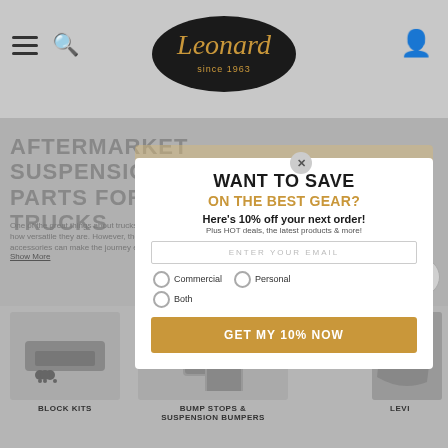[Figure (screenshot): Leonard auto parts website screenshot with navigation header showing hamburger menu, search icon, Leonard since 1963 oval logo, and user icon]
AFTERMARKET SUSPENSION PARTS FOR TRUCKS
One of the great things about trucks and SUVs is how versatile they are. However, the right suspension accessories can make the journey even more
Show More
WANT TO SAVE
ON THE BEST GEAR?
Here's 10% off your next order!
Plus HOT deals, the latest products & more!
ENTER YOUR EMAIL
Commercial
Personal
Both
GET MY 10% NOW
BLOCK KITS
BUMP STOPS & SUSPENSION BUMPERS
LEVI